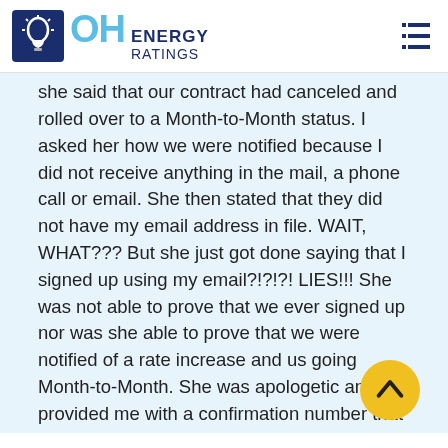OH ENERGY RATINGS
she said that our contract had canceled and rolled over to a Month-to-Month status. I asked her how we were notified because I did not receive anything in the mail, a phone call or email. She then stated that they did not have my email address in file. WAIT, WHAT??? But she just got done saying that I signed up using my email?!?!?! LIES!!! She was not able to prove that we ever signed up nor was she able to prove that we were notified of a rate increase and us going Month-to-Month. She was apologetic and provided me with a confirmation number that canceled our services with them. I asked for a bill credit in the amount of $274 since that it what they charged us to "supply" us our Energy. said she would escalate it to the proper department and I would receive a phone